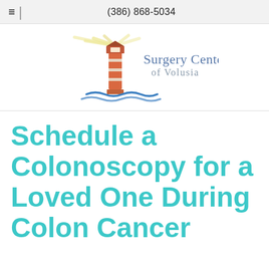(386) 868-5034
[Figure (logo): Surgery Center of Volusia logo featuring a red/orange lighthouse with yellow light rays above blue waves, with text 'Surgery Center of Volusia' in blue/slate colors]
Schedule a Colonoscopy for a Loved One During Colon Cancer